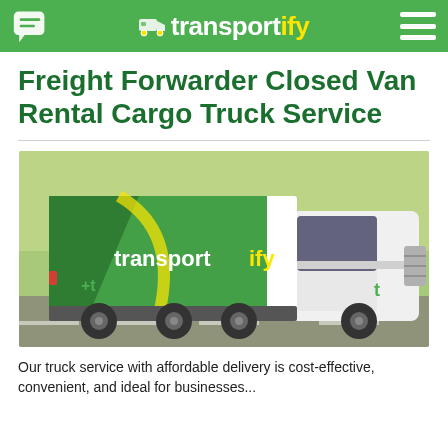transportify
Freight Forwarder Closed Van Rental Cargo Truck Service
[Figure (photo): A Transportify branded closed van cargo truck in motion on a road, with green and yellow logo on the white truck body.]
Our truck service with affordable delivery is cost-effective, convenient, and ideal for businesses...